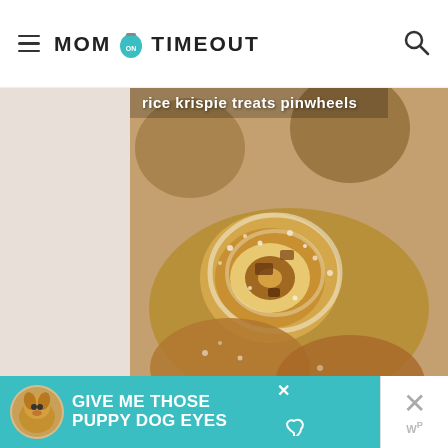MOM ON TIMEOUT
[Figure (photo): Close-up photo of Rice Krispie Treats Pinwheels stacked on top of each other, showing swirled cross-sections with chocolate and marshmallow layers]
Rice Krispie Treats Pinwheels
[Figure (infographic): Advertisement banner reading GIVE ME THOSE PUPPY DOG EYES with a dog image on a teal background]